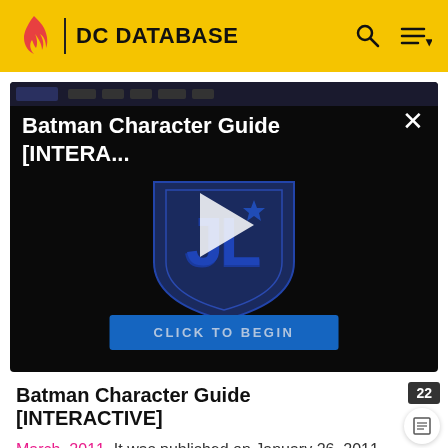DC DATABASE
[Figure (screenshot): Batman Character Guide [INTERA...] video thumbnail with Justice League shield logo, play button in center, and 'CLICK TO BEGIN' button at bottom]
Batman Character Guide [INTERACTIVE]
March, 2011. It was published on January 26, 2011.